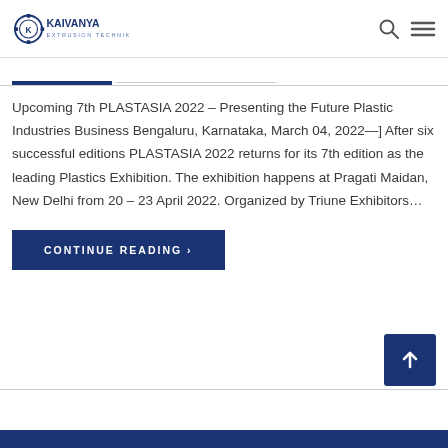Kaivanya Extrusion Technik
Upcoming 7th PLASTASIA 2022 — Presenting the Future Plastic Industries Business Bengaluru, Karnataka, March 04, 2022—] After six successful editions PLASTASIA 2022 returns for its 7th edition as the leading Plastics Exhibition. The exhibition happens at Pragati Maidan, New Delhi from 20 – 23 April 2022. Organized by Triune Exhibitors…
CONTINUE READING ›